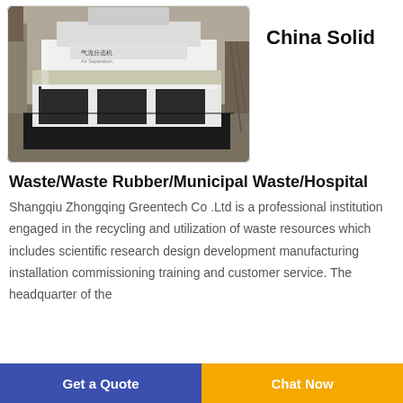[Figure (photo): Industrial air separation machine (气流分选机 / Air Separation) — a large white machine on a factory floor]
China Solid
Waste/Waste Rubber/Municipal Waste/Hospital
Shangqiu Zhongqing Greentech Co .Ltd is a professional institution engaged in the recycling and utilization of waste resources which includes scientific research design development manufacturing installation commissioning training and customer service. The headquarter of the company is located in Beijing...
Get a Quote  |  Chat Now